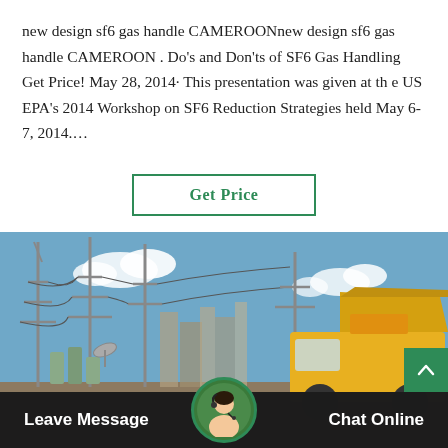new design sf6 gas handle CAMEROONnew design sf6 gas handle CAMEROON . Do's and Don'ts of SF6 Gas Handling Get Price! May 28, 2014· This presentation was given at th e US EPA's 2014 Workshop on SF6 Reduction Strategies held May 6-7, 2014.…
[Figure (other): Button labeled 'Get Price' with green border on white background]
[Figure (photo): Outdoor electrical substation with tall metal towers and power lines, blue sky with clouds, a yellow construction truck/vehicle visible on the right side, industrial buildings in the background]
Leave Message   Chat Online